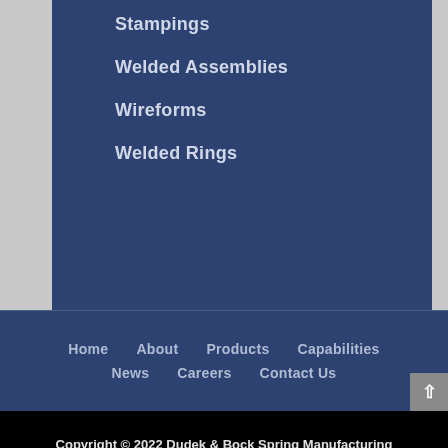Stampings
Welded Assemblies
Wireforms
Welded Rings
Home  About  Products  Capabilities  News  Careers  Contact Us
Copyright © 2022 Dudek & Bock Spring Manufacturing Company , LLC All rights reserved.
Privacy Statement | Sitemap | Contact Us | Link to Us
Website Design, Programming, Hosting, Internet Marketing & Social Networking by OnYourMark, LLC